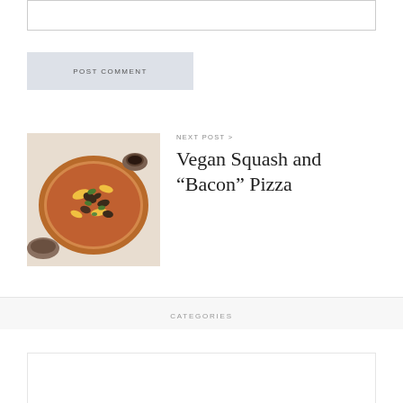[Figure (other): Empty comment textarea/input box with border]
POST COMMENT
NEXT POST >
[Figure (photo): Photo of a vegan pizza with squash, bacon-style toppings, and herbs on a wooden board]
Vegan Squash and “Bacon” Pizza
CATEGORIES
[Figure (other): Category card/thumbnail (partially visible at bottom)]